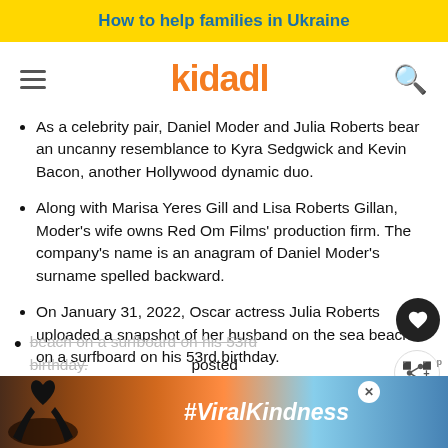How to help families in Ukraine
[Figure (logo): Kidadl website navigation bar with hamburger menu, kidadl orange logo, and search icon]
As a celebrity pair, Daniel Moder and Julia Roberts bear an uncanny resemblance to Kyra Sedgwick and Kevin Bacon, another Hollywood dynamic duo.
Along with Marisa Yeres Gill and Lisa Roberts Gillan, Moder's wife owns Red Om Films' production firm. The company's name is an anagram of Daniel Moder's surname spelled backward.
On January 31, 2022, Oscar actress Julia Roberts uploaded a snapshot of her husband on the sea beach on a surfboard on his 53rd birthday.
...posted
[Figure (photo): Advertisement banner showing hands making heart shape with #ViralKindness text over sunset background]